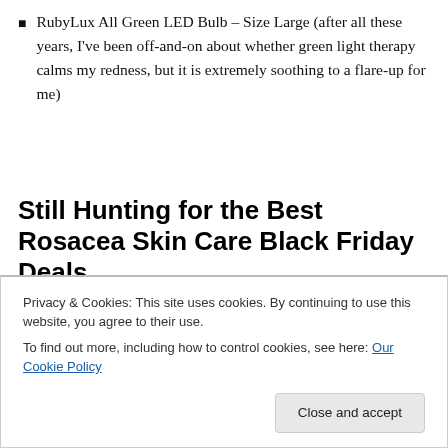RubyLux All Green LED Bulb – Size Large (after all these years, I've been off-and-on about whether green light therapy calms my redness, but it is extremely soothing to a flare-up for me)
Still Hunting for the Best Rosacea Skin Care Black Friday Deals
These are the best rosacea skin care Black Friday deals I could find so far. If I spot some more throughout the day
Privacy & Cookies: This site uses cookies. By continuing to use this website, you agree to their use.
To find out more, including how to control cookies, see here: Our Cookie Policy